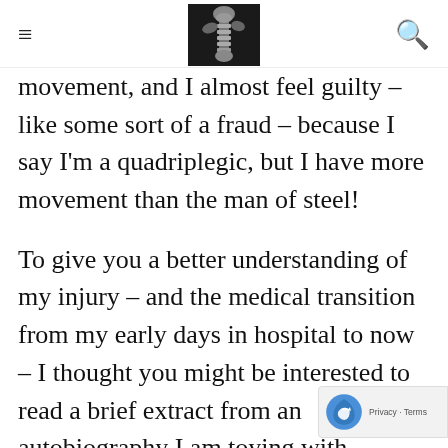[hamburger menu icon] [X-ray spine image] [search icon]
movement, and I almost feel guilty – like some sort of a fraud – because I say I'm a quadriplegic, but I have more movement than the man of steel!
To give you a better understanding of my injury – and the medical transition from my early days in hospital to now – I thought you might be interested to read a brief extract from an autobiography I am toying with (tentatively titled, Husbands Should Not Break). This extract is a little technical– I promise you